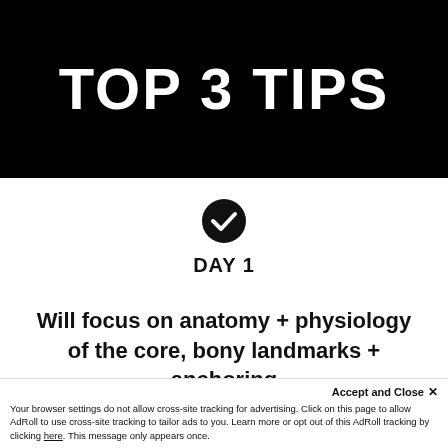[Figure (other): Black banner with large white bold text reading TOP 3 TIPS]
TOP 3 TIPS
[Figure (other): Black circle checkmark icon followed by bold text DAY 1]
DAY 1
Will focus on anatomy + physiology of the core, bony landmarks + anchoring
points for movement A&P followed by
Accept and Close ×
Your browser settings do not allow cross-site tracking for advertising. Click on this page to allow AdRoll to use cross-site tracking to tailor ads to you. Learn more or opt out of this AdRoll tracking by clicking here. This message only appears once.